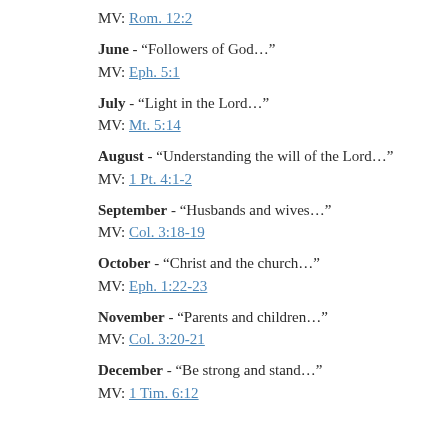MV: Rom. 12:2
June - “Followers of God…”
MV: Eph. 5:1
July - “Light in the Lord…”
MV: Mt. 5:14
August - “Understanding the will of the Lord…”
MV: 1 Pt. 4:1-2
September - “Husbands and wives…”
MV: Col. 3:18-19
October - “Christ and the church…”
MV: Eph. 1:22-23
November - “Parents and children…”
MV: Col. 3:20-21
December - “Be strong and stand…”
MV: 1 Tim. 6:12